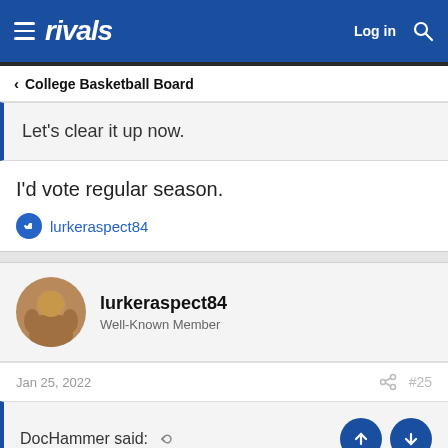rivals — Log in [search icon]
< College Basketball Board
Let's clear it up now.
I'd vote regular season.
lurkeraspect84
lurkeraspect84
Well-Known Member
Jan 25, 2022  #25
DocHammer said: